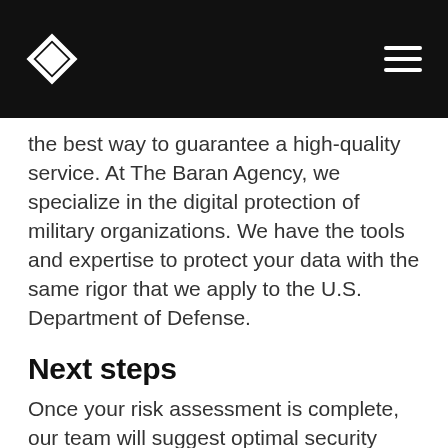[Figure (logo): Diamond-shaped logo (white outline) on black header bar with hamburger menu icon on the right]
the best way to guarantee a high-quality service. At The Baran Agency, we specialize in the digital protection of military organizations. We have the tools and expertise to protect your data with the same rigor that we apply to the U.S. Department of Defense.
Next steps
Once your risk assessment is complete, our team will suggest optimal security controls based on your organization. We will then oversee implementation and stage a data breach to ensure the success